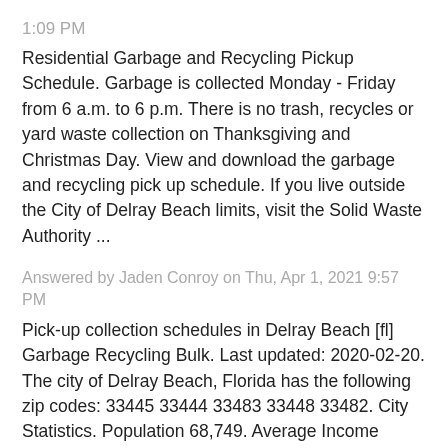1:09 PM
Residential Garbage and Recycling Pickup Schedule. Garbage is collected Monday - Friday from 6 a.m. to 6 p.m. There is no trash, recycles or yard waste collection on Thanksgiving and Christmas Day. View and download the garbage and recycling pick up schedule. If you live outside the City of Delray Beach limits, visit the Solid Waste Authority ...
Answered by Jaden Conroy on Thu, Apr 1, 2021 9:57 PM
Pick-up collection schedules in Delray Beach [fl] Garbage Recycling Bulk. Last updated: 2020-02-20. The city of Delray Beach, Florida has the following zip codes: 33445 33444 33483 33448 33482. City Statistics. Population 68,749. Average Income